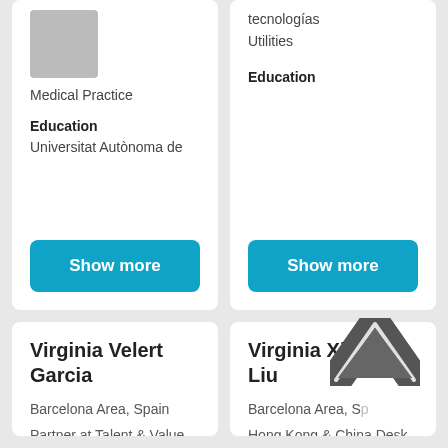Medical Practice
Education
Universitat Autònoma de
Show more
tecnologías
Utilities
Education
Show more
Virginia Velert Garcia
Barcelona Area, Spain
Partner at Talent & Value
Management Consulting
Virginia Xiaole Liu
Barcelona Area, S...
Hong Kong & China Desk
Advisor at ILV SILVER